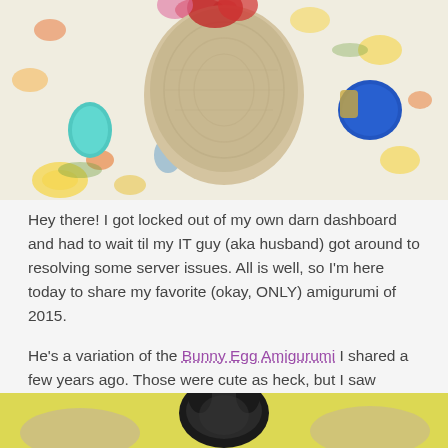[Figure (photo): Top-down photo of a crocheted beige egg/bunny amigurumi on a floral fabric background, surrounded by colorful easter eggs and yarn balls]
Hey there! I got locked out of my own darn dashboard and had to wait til my IT guy (aka husband) got around to resolving some server issues. All is well, so I'm here today to share my favorite (okay, ONLY) amigurumi of 2015.
He's a variation of the Bunny Egg Amigurumi I shared a few years ago. Those were cute as heck, but I saw MEGA Easter eggs at the store and KNEW I needed to crochet them into adorable little animals. A few days later, I had my first egg of lamb.
[Figure (photo): Bottom portion of a photo showing what appears to be an amigurumi lamb or similar crocheted animal]